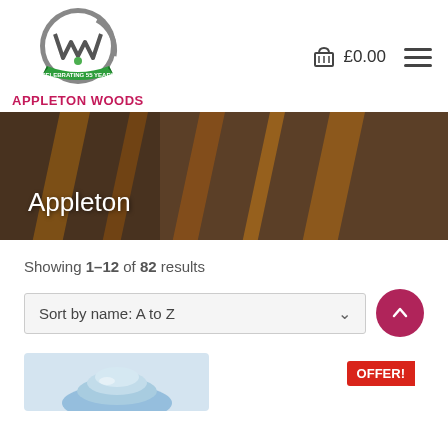[Figure (logo): Appleton Woods logo: circular grey badge with stylized W, green 'CELEBRATING 55 YEARS' banner ribbon, and red APPLETON WOODS brand name below]
£0.00
Appleton
Showing 1–12 of 82 results
Sort by name: A to Z
[Figure (photo): Close-up photo of Appleton product (drill bit or similar tool) with blue metallic appearance at bottom of page]
OFFER!